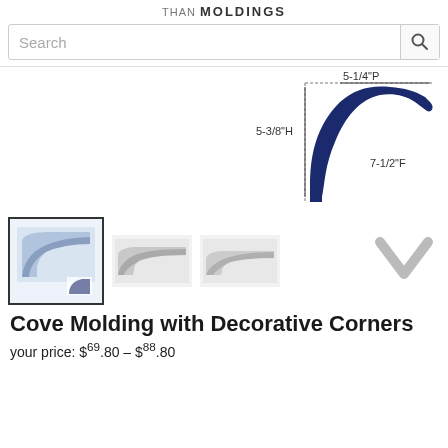THAN MOLDINGS
[Figure (illustration): Search bar with magnifying glass icon]
[Figure (engineering-diagram): Cross-section profile of cove molding with dimensions: 5-1/4"P (projection), 5-3/8"H (height), 7-1/2"F (face). Navy blue curved molding profile shown against white background with measurement lines.]
[Figure (photo): Row of product thumbnail images: first is selected (bordered), showing molding with decorative corner detail; second and third show straight molding pieces; fourth is a navigation arrow chevron]
Cove Molding with Decorative Corners
your price: $69.80 – $88.80